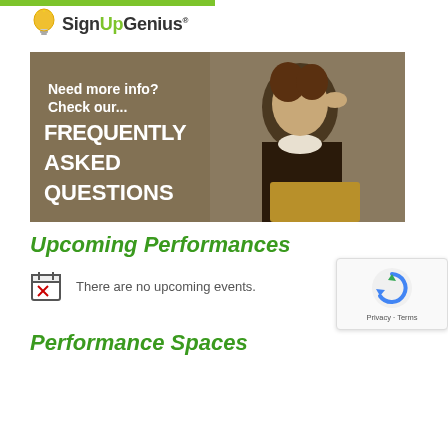[Figure (logo): SignUpGenius logo with green lightbulb icon and green bar above]
[Figure (illustration): Banner image showing a classic portrait of a thinker (Shakespeare-style figure) with text overlay: 'Need more info? Check our... FREQUENTLY ASKED QUESTIONS']
Upcoming Performances
There are no upcoming events.
[Figure (screenshot): Google reCAPTCHA widget showing spinning arrows logo with 'Privacy - Terms' text]
Performance Spaces